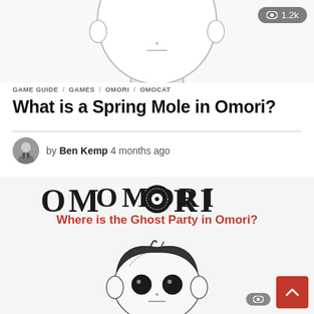[Figure (illustration): Top portion of a cartoon character face (mole/creature) with simple line art, white background, partially cropped]
1.2k views badge
GAME GUIDE / GAMES / OMORI / OMOCAT
What is a Spring Mole in Omori?
by Ben Kemp 4 months ago
[Figure (illustration): Related article card: 'Where is the Ghost Party in Omori?' showing OMORI logo text and sketch-style character face with dark hair and large eyes]